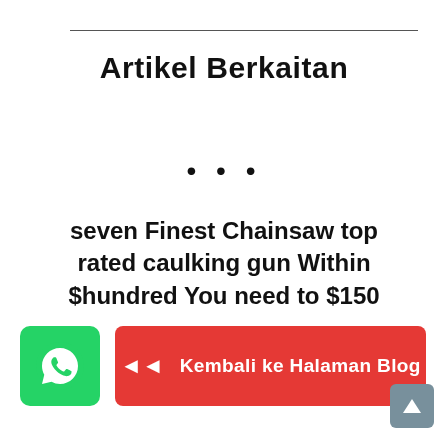Artikel Berkaitan
• • •
seven Finest Chainsaw top rated caulking gun Within $hundred You need to $150
READ MORE »
[Figure (logo): WhatsApp icon button (green rounded square with WhatsApp logo)]
◄◄  Kembali ke Halaman Blog
[Figure (other): Scroll to top button (grey rounded square with up arrow)]